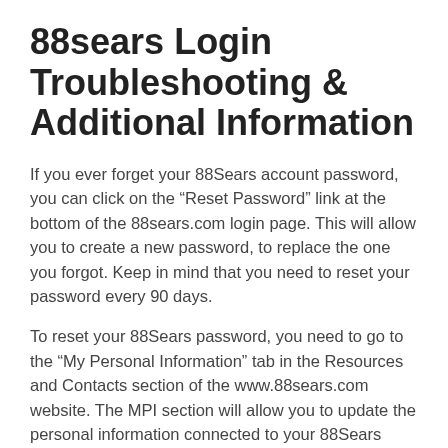88sears Login Troubleshooting & Additional Information
If you ever forget your 88Sears account password, you can click on the “Reset Password” link at the bottom of the 88sears.com login page. This will allow you to create a new password, to replace the one you forgot. Keep in mind that you need to reset your password every 90 days.
To reset your 88Sears password, you need to go to the “My Personal Information” tab in the Resources and Contacts section of the www.88sears.com website. The MPI section will allow you to update the personal information connected to your 88Sears account, including your password and location.